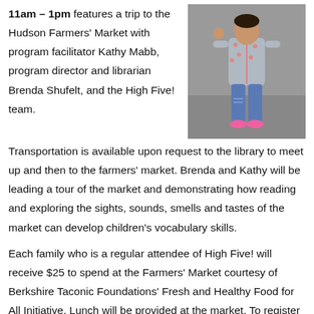11am – 1pm features a trip to the Hudson Farmers' Market with program facilitator Kathy Mabb, program director and librarian Brenda Shufelt, and the High Five! team.
[Figure (photo): A young child standing outdoors on a paved surface, wearing a gray polka-dot jacket, blue jeans, and bright pink shoes.]
Transportation is available upon request to the library to meet up and then to the farmers' market. Brenda and Kathy will be leading a tour of the market and demonstrating how reading and exploring the sights, sounds, smells and tastes of the market can develop children's vocabulary skills.
Each family who is a regular attendee of High Five! will receive $25 to spend at the Farmers' Market courtesy of Berkshire Taconic Foundations' Fresh and Healthy Food for All Initiative. Lunch will be provided at the market. To register for High Five!, email programs@hudsonarealibrary.org, call 518-828-1792 x101, or stop by the desk at the Hudson Area Library. This program is free and